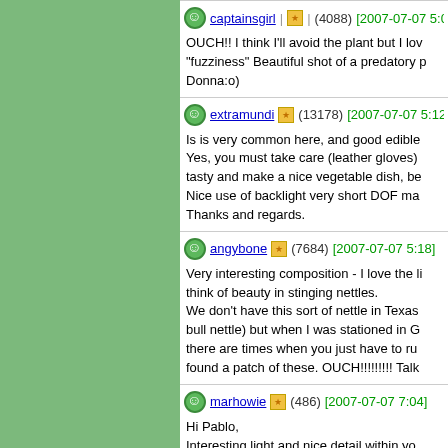captainsgirl (4088) [2007-07-07 5:01] OUCH!! I think I'll avoid the plant but I love the "fuzziness" Beautiful shot of a predatory p... Donna:o)
extramundi (13178) [2007-07-07 5:12] Is is very common here, and good edible... Yes, you must take care (leather gloves) tasty and make a nice vegetable dish, be... Nice use of backlight very short DOF ma... Thanks and regards.
angybone (7684) [2007-07-07 5:18] Very interesting composition - I love the li... think of beauty in stinging nettles. We don't have this sort of nettle in Texas... bull nettle) but when I was stationed in G... there are times when you just have to ru... found a patch of these. OUCH!!!!!!!!! Talk...
marhowie (486) [2007-07-07 7:04] Hi Pablo, Interesting light and nice detail within you... Interesting note, Well done. Howard